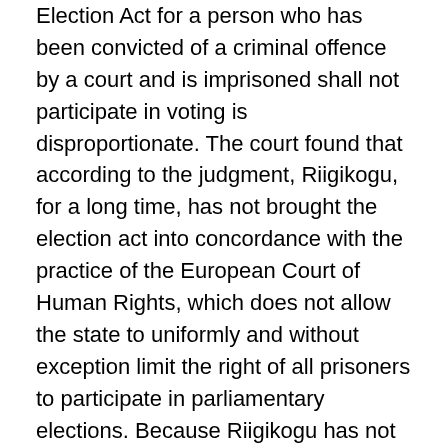Election Act for a person who has been convicted of a criminal offence by a court and is imprisoned shall not participate in voting is disproportionate. The court found that according to the judgment, Riigikogu, for a long time, has not brought the election act into concordance with the practice of the European Court of Human Rights, which does not allow the state to uniformly and without exception limit the right of all prisoners to participate in parliamentary elections. Because Riigikogu has not made the decision based on which criteria the prisoners' right to vote is limited and in which procedure, the Riigikogu Election Act is unconstitutional.[11] Therefore, because of the judgment, two prisoners, as an exception, were given the right to vote, but at the same time the court failed to apply the unconstitutional limitation in the case, which initiated the constitutional review proceedings in the Supreme Court, whose sole jurisdiction it is to declare the limitation void. The Supreme Court found in its judgment that they would not declare the limitation void based on